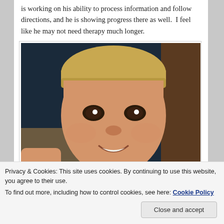is working on his ability to process information and follow directions, and he is showing progress there as well.  I feel like he may not need therapy much longer.
[Figure (photo): Close-up photo of a young boy with blonde hair and dark eyes, smiling at the camera. He is wearing a dark shirt. Background appears to be a bedroom.]
Privacy & Cookies: This site uses cookies. By continuing to use this website, you agree to their use.
To find out more, including how to control cookies, see here: Cookie Policy